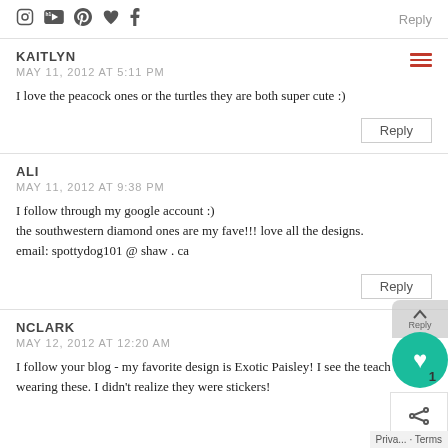[social icons] Reply
KAITLYN
MAY 11, 2012 AT 5:11 PM
I love the peacock ones or the turtles they are both super cute :)
ALI
MAY 11, 2012 AT 9:38 PM
I follow through my google account :)
the southwestern diamond ones are my fave!!! love all the designs.
email: spottydog101 @ shaw . ca
NCLARK
MAY 12, 2012 AT 12:20 AM
I follow your blog - my favorite design is Exotic Paisley!  I see the teach wearing these. I didn't realize they were stickers!